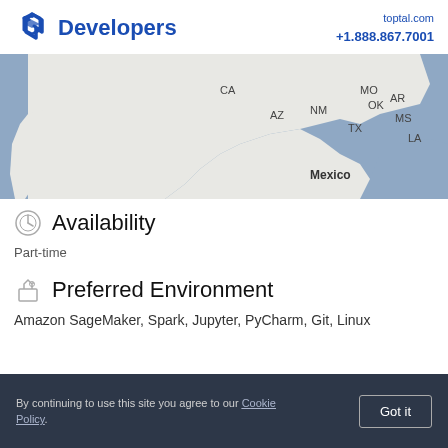Developers | toptal.com +1.888.867.7001
[Figure (map): Partial map of southern United States and Mexico showing state abbreviations: CA, AZ, NM, OK, AR, TX, MS, LA, MO, with Mexico labeled. Blue/grey ocean areas visible.]
Availability
Part-time
Preferred Environment
Amazon SageMaker, Spark, Jupyter, PyCharm, Git, Linux
By continuing to use this site you agree to our Cookie Policy.